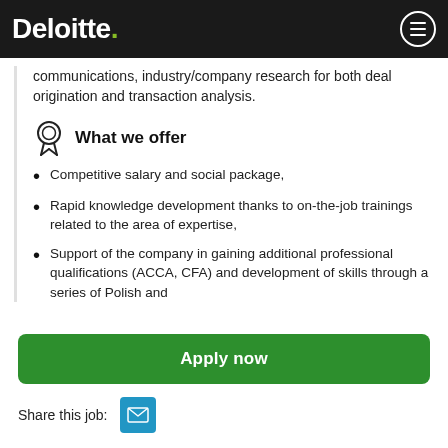Deloitte. [menu icon]
communications, industry/company research for both deal origination and transaction analysis.
What we offer
Competitive salary and social package,
Rapid knowledge development thanks to on-the-job trainings related to the area of expertise,
Support of the company in gaining additional professional qualifications (ACCA, CFA) and development of skills through a series of Polish and
Apply now
Share this job: